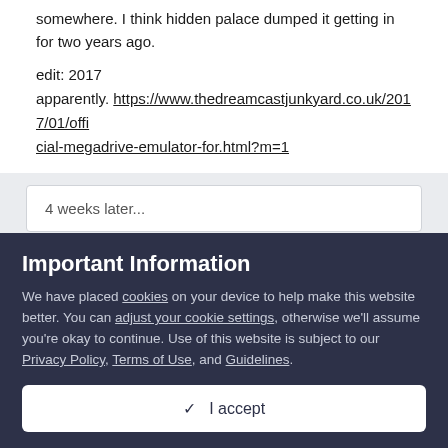somewhere. I think hidden palace dumped it getting in for two years ago.
edit: 2017
apparently. https://www.thedreamcastjunkyard.co.uk/2017/01/official-megadrive-emulator-for.html?m=1
4 weeks later...
spanky debrest
Important Information
We have placed cookies on your device to help make this website better. You can adjust your cookie settings, otherwise we'll assume you're okay to continue. Use of this website is subject to our Privacy Policy, Terms of Use, and Guidelines.
✓  I accept